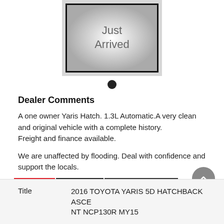[Figure (photo): Just Arrived placeholder image — black-bordered box with radial gradient and text 'Just Arrived' in grey]
Dealer Comments
A one owner Yaris Hatch. 1.3L Automatic.A very clean and original vehicle with a complete history.
Freight and finance available.
We are unaffected by flooding. Deal with confidence and support the locals.
Jontom Car Sales. Lismore. www.jontom.com.au
Details | Features | Optional Extras
|  |  |
| --- | --- |
| Title | 2016 TOYOTA YARIS 5D HATCHBACK ASCENT NCP130R MY15 |